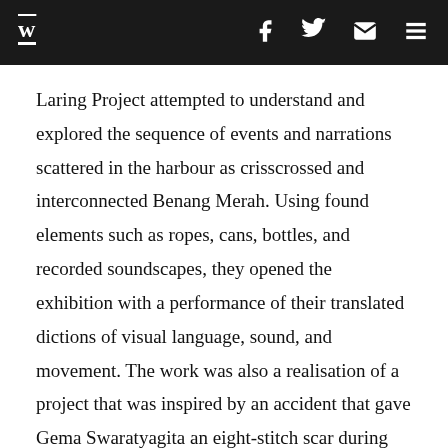W [logo] [facebook icon] [twitter icon] [email icon] [menu icon]
Laring Project attempted to understand and explored the sequence of events and narrations scattered in the harbour as crisscrossed and interconnected Benang Merah. Using found elements such as ropes, cans, bottles, and recorded soundscapes, they opened the exhibition with a performance of their translated dictions of visual language, sound, and movement. The work was also a realisation of a project that was inspired by an accident that gave Gema Swaratyagita an eight-stitch scar during her ride with Sekartadji Suminto. Coincidentally, the accident happened in Perak, almost exactly a year before their performance.
In Vessel, Nita Parsons aka Nitchii drew parallels